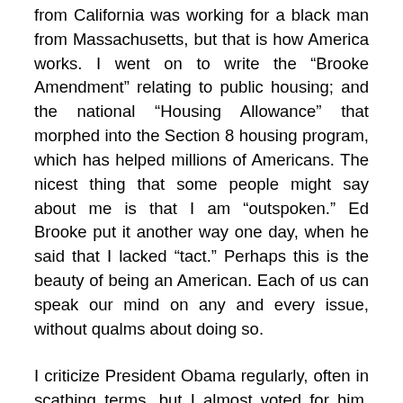from California was working for a black man from Massachusetts, but that is how America works. I went on to write the “Brooke Amendment” relating to public housing; and the national “Housing Allowance” that morphed into the Section 8 housing program, which has helped millions of Americans. The nicest thing that some people might say about me is that I am “outspoken.” Ed Brooke put it another way one day, when he said that I lacked “tact.” Perhaps this is the beauty of being an American. Each of us can speak our mind on any and every issue, without qualms about doing so.
I criticize President Obama regularly, often in scathing terms, but I almost voted for him. Even though I disagree with almost everything he does, because I am much more conservative than he will ever be, I would prefer him any day of the week to a leader like Russia’s